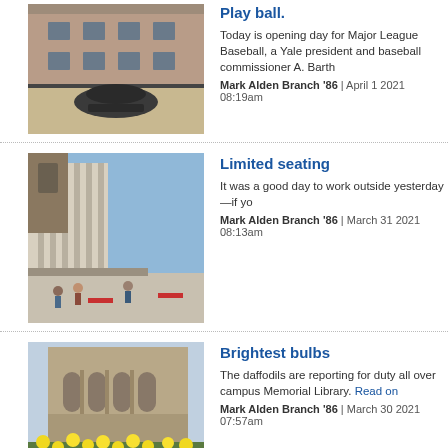[Figure (photo): Brick university building exterior with black curved sculpture in foreground]
Play ball.
Today is opening day for Major League Baseball, a Yale president and baseball commissioner A. Barth
Mark Alden Branch '86 | April 1 2021 08:19am
[Figure (photo): Modern concrete Yale building exterior with students seated outside]
Limited seating
It was a good day to work outside yesterday—if yo
Mark Alden Branch '86 | March 31 2021 08:13am
[Figure (photo): Gothic stone Yale building with arched windows and daffodils in foreground]
Brightest bulbs
The daffodils are reporting for duty all over campus Memorial Library. Read on
Mark Alden Branch '86 | March 30 2021 07:57am